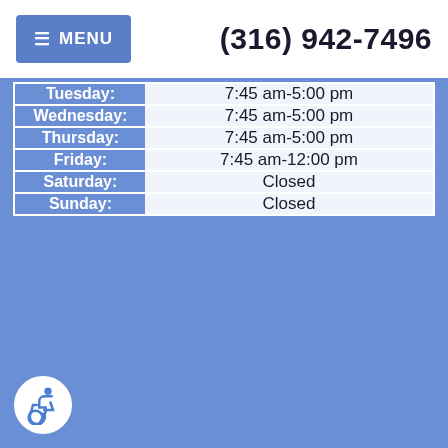≡ MENU   (316) 942-7496
| Day | Hours |
| --- | --- |
| Tuesday: | 7:45 am-5:00 pm |
| Wednesday: | 7:45 am-5:00 pm |
| Thursday: | 7:45 am-5:00 pm |
| Friday: | 7:45 am-12:00 pm |
| Saturday: | Closed |
| Sunday: | Closed |